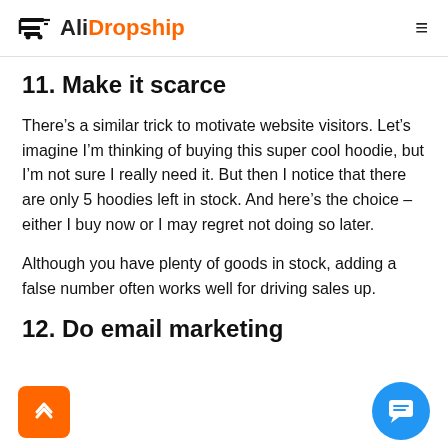AliDropship
11. Make it scarce
There’s a similar trick to motivate website visitors. Let’s imagine I’m thinking of buying this super cool hoodie, but I’m not sure I really need it. But then I notice that there are only 5 hoodies left in stock. And here’s the choice – either I buy now or I may regret not doing so later.
Although you have plenty of goods in stock, adding a false number often works well for driving sales up.
12. Do email marketing